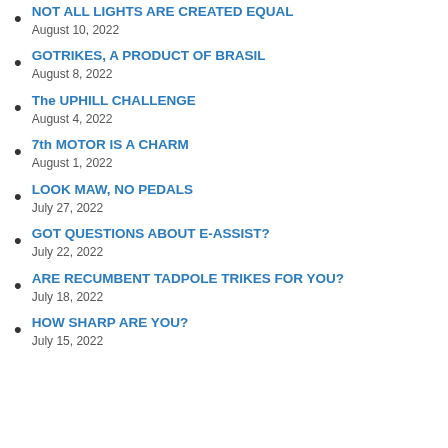NOT ALL LIGHTS ARE CREATED EQUAL
August 10, 2022
GOTRIKES, A PRODUCT OF BRASIL
August 8, 2022
The UPHILL CHALLENGE
August 4, 2022
7th MOTOR IS A CHARM
August 1, 2022
LOOK MAW, NO PEDALS
July 27, 2022
GOT QUESTIONS ABOUT E-ASSIST?
July 22, 2022
ARE RECUMBENT TADPOLE TRIKES FOR YOU?
July 18, 2022
HOW SHARP ARE YOU?
July 15, 2022